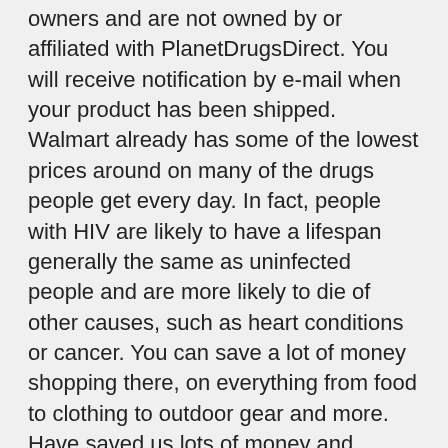owners and are not owned by or affiliated with PlanetDrugsDirect. You will receive notification by e-mail when your product has been shipped. Walmart already has some of the lowest prices around on many of the drugs people get every day. In fact, people with HIV are likely to have a lifespan generally the same as uninfected people and are more likely to die of other causes, such as heart conditions or cancer. You can save a lot of money shopping there, on everything from food to clothing to outdoor gear and more. Have saved us lots of money and always recommend to friends. But 30 years of dedicated research brings results. Always consult your healthcare provider to ensure the information displayed on this page applies to your personal circumstances. If you are new to HIV treatment, your doctor will probably start you on one of these recommended regimens. They are also prioritizing their workers, raising their minimum wage and looking [Pill] more things like offering maternal and paternal leave, etc. By clicking Subscribe, I agree to the Drugs. The easiest way to